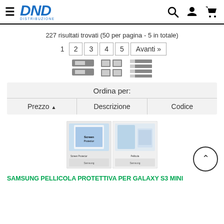DND Distribuzione - header with hamburger menu, logo, search, account, cart icons
227 risultati trovati (50 per pagina - 5 in totale)
1  2  3  4  5  Avanti »
[Figure (infographic): Three view-toggle icons: large grid, small grid, and list view]
Ordina per:
Prezzo ▲  |  Descrizione  |  Codice
[Figure (photo): Samsung screen protector product packaging images for Galaxy S3 Mini, two boxes shown side by side]
SAMSUNG PELLICOLA PROTETTIVA PER GALAXY S3 MINI